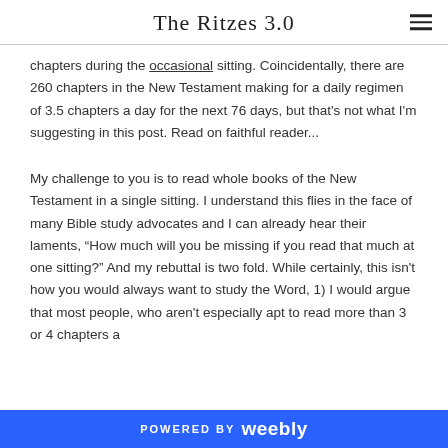The Ritzes 3.0
chapters during the occasional sitting. Coincidentally, there are 260 chapters in the New Testament making for a daily regimen of 3.5 chapters a day for the next 76 days, but that's not what I'm suggesting in this post. Read on faithful reader...
My challenge to you is to read whole books of the New Testament in a single sitting. I understand this flies in the face of many Bible study advocates and I can already hear their laments, “How much will you be missing if you read that much at one sitting?” And my rebuttal is two fold. While certainly, this isn't how you would always want to study the Word, 1) I would argue that most people, who aren't especially apt to read more than 3 or 4 chapters a day, do them pretty quickly in one go, as f
POWERED BY weebly